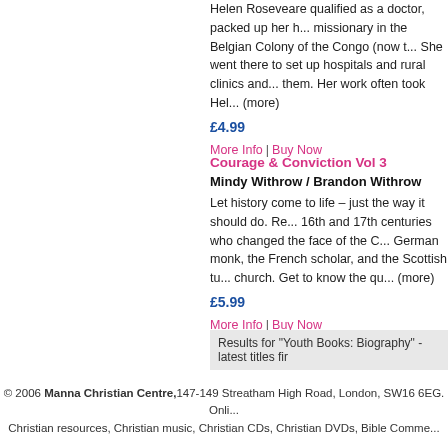Helen Roseveare qualified as a doctor, packed up her h... missionary in the Belgian Colony of the Congo (now t... She went there to set up hospitals and rural clinics and... them. Her work often took Hel... (more)
£4.99
More Info | Buy Now
Courage & Conviction Vol 3
Mindy Withrow / Brandon Withrow
Let history come to life – just the way it should do. Re... 16th and 17th centuries who changed the face of the C... German monk, the French scholar, and the Scottish tu... church. Get to know the qu... (more)
£5.99
More Info | Buy Now
Results for "Youth Books: Biography" - latest titles fir
© 2006 Manna Christian Centre,147-149 Streatham High Road, London, SW16 6EG. Onl... Christian resources, Christian music, Christian CDs, Christian DVDs, Bible Comme...